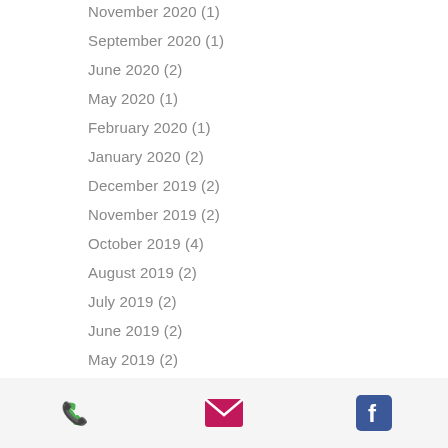November 2020 (1)
September 2020 (1)
June 2020 (2)
May 2020 (1)
February 2020 (1)
January 2020 (2)
December 2019 (2)
November 2019 (2)
October 2019 (4)
August 2019 (2)
July 2019 (2)
June 2019 (2)
May 2019 (2)
April 2019 (3)
March 2019 (1)
February 2019 (1)
January 2019 (1)
[Figure (infographic): Footer bar with phone, email, and Facebook icons]